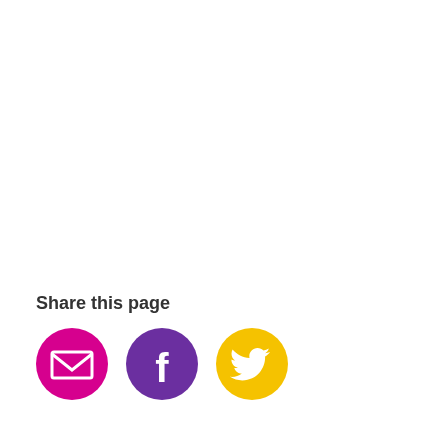Share this page
[Figure (infographic): Three social sharing icons in circles: email (magenta/pink circle with envelope icon), Facebook (purple circle with F icon), Twitter (yellow circle with bird icon)]